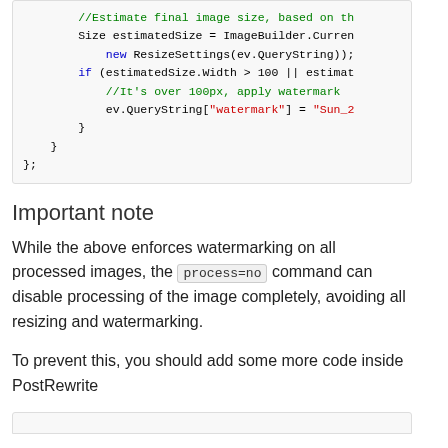[Figure (screenshot): Code block showing C# code snippet with syntax highlighting: green comments, blue keyword 'new', red string 'watermark', black/dark code text. Shows estimatedSize, if condition, QueryString watermark assignment, and closing braces.]
Important note
While the above enforces watermarking on all processed images, the process=no command can disable processing of the image completely, avoiding all resizing and watermarking.
To prevent this, you should add some more code inside PostRewrite
[Figure (screenshot): Beginning of another code block, partially visible at the bottom of the page.]